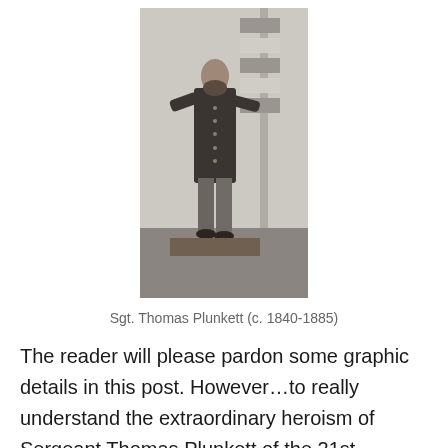[Figure (photo): Black and white photograph of Sgt. Thomas Plunkett, a man in a military uniform standing next to a flag, circa 1840-1885.]
Sgt. Thomas Plunkett (c. 1840-1885)
The reader will please pardon some graphic details in this post. However…to really understand the extraordinary heroism of Sergeant Thomas Plunkett of the 21st Massachusetts Infantry, who was awarded the Medal of